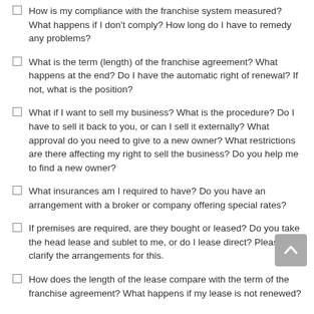How is my compliance with the franchise system measured? What happens if I don't comply? How long do I have to remedy any problems?
What is the term (length) of the franchise agreement? What happens at the end? Do I have the automatic right of renewal? If not, what is the position?
What if I want to sell my business? What is the procedure? Do I have to sell it back to you, or can I sell it externally? What approval do you need to give to a new owner? What restrictions are there affecting my right to sell the business? Do you help me to find a new owner?
What insurances am I required to have? Do you have an arrangement with a broker or company offering special rates?
If premises are required, are they bought or leased? Do you take the head lease and sublet to me, or do I lease direct? Please clarify the arrangements for this.
How does the length of the lease compare with the term of the franchise agreement? What happens if my lease is not renewed?